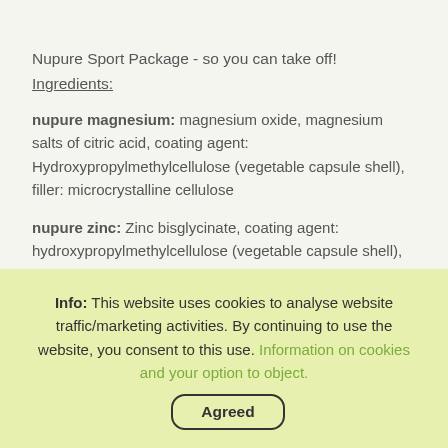Nupure Sport Package - so you can take off!
Ingredients:
nupure magnesium: magnesium oxide, magnesium salts of citric acid, coating agent: Hydroxypropylmethylcellulose (vegetable capsule shell), filler: microcrystalline cellulose
nupure zinc: Zinc bisglycinate, coating agent: hydroxypropylmethylcellulose (vegetable capsule shell), filler: microcrystalline cellulose
Intake & Storage
TÜV Verdict
Info: This website uses cookies to analyse website traffic/marketing activities. By continuing to use the website, you consent to this use. Information on cookies and your option to object.